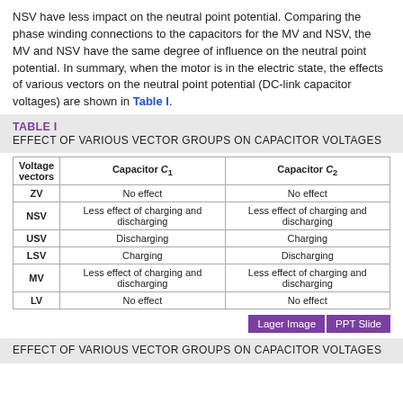NSV have less impact on the neutral point potential. Comparing the phase winding connections to the capacitors for the MV and NSV, the MV and NSV have the same degree of influence on the neutral point potential. In summary, when the motor is in the electric state, the effects of various vectors on the neutral point potential (DC-link capacitor voltages) are shown in Table I.
TABLE I
EFFECT OF VARIOUS VECTOR GROUPS ON CAPACITOR VOLTAGES
| Voltage vectors | Capacitor C1 | Capacitor C2 |
| --- | --- | --- |
| ZV | No effect | No effect |
| NSV | Less effect of charging and discharging | Less effect of charging and discharging |
| USV | Discharging | Charging |
| LSV | Charging | Discharging |
| MV | Less effect of charging and discharging | Less effect of charging and discharging |
| LV | No effect | No effect |
EFFECT OF VARIOUS VECTOR GROUPS ON CAPACITOR VOLTAGES